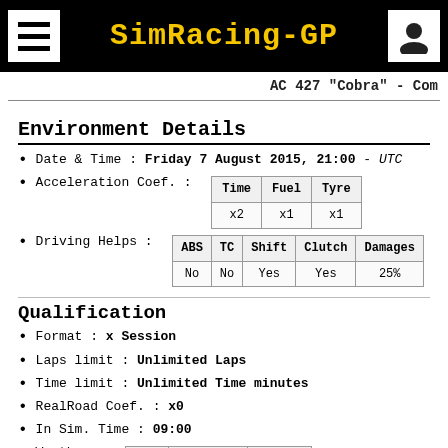SimRacing-GP
AC 427 "Cobra" - Com
Environment Details
Date & Time : Friday 7 August 2015, 21:00 - UTC
Acceleration Coef. :
| Time | Fuel | Tyre |
| --- | --- | --- |
| x2 | x1 | x1 |
Driving Helps :
| ABS | TC | Shift | Clutch | Damages |
| --- | --- | --- | --- | --- |
| No | No | Yes | Yes | 25% |
Qualification
Format : x Session
Laps limit : Unlimited Laps
Time limit : Unlimited Time minutes
RealRoad Coef. : x0
In Sim. Time : 09:00
Weather :
| Sky | Air Temp | Rain % |
| --- | --- | --- |